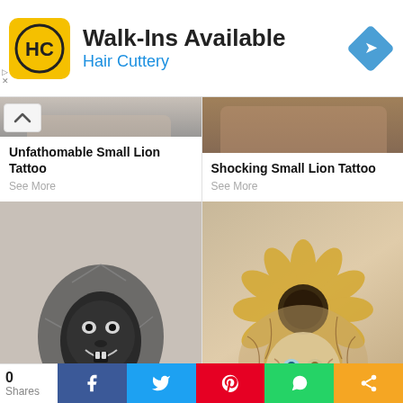[Figure (screenshot): Hair Cuttery advertisement banner with yellow HC logo, 'Walk-Ins Available' heading, 'Hair Cuttery' subtitle in blue, and a blue diamond navigation arrow icon]
[Figure (photo): Partial photo of a person's torso/arm, top of a tattoo visible, with chevron up button]
[Figure (photo): Top portion of a lion tattoo on skin, warm brown tones]
Unfathomable Small Lion Tattoo
See More
Shocking Small Lion Tattoo
See More
[Figure (photo): Black and white photo of a roaring lion tattoo on a shoulder/arm]
[Figure (photo): Colorful lion-sunflower hybrid tattoo on an arm, with blue eye detail]
[Figure (screenshot): Social sharing bar with share count 0, Facebook, Twitter, Pinterest, WhatsApp, and general share buttons]